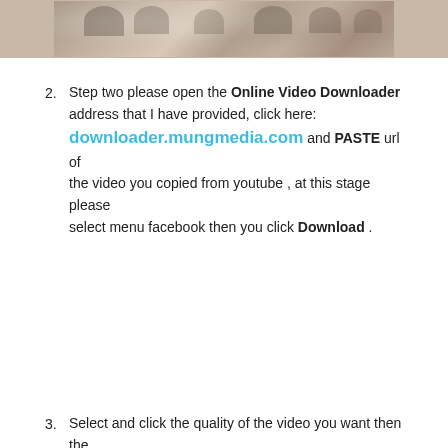[Figure (photo): A photo strip showing people, cropped at the top of the page]
Step two please open the Online Video Downloader address that I have provided, click here: downloader.mungmedia.com and PASTE url of the video you copied from youtube , at this stage please select menu facebook then you click Download .
Select and click the quality of the video you want then the video on youtube will be downloaded to your computer or